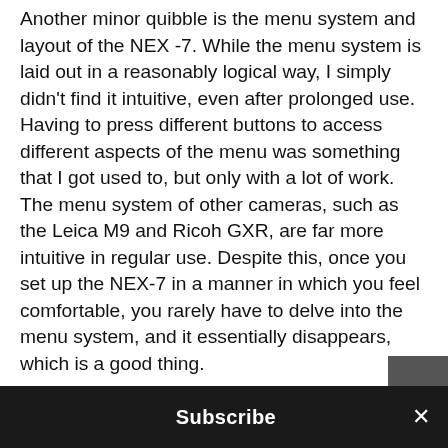Another minor quibble is the menu system and layout of the NEX -7. While the menu system is laid out in a reasonably logical way, I simply didn't find it intuitive, even after prolonged use. Having to press different buttons to access different aspects of the menu was something that I got used to, but only with a lot of work. The menu system of other cameras, such as the Leica M9 and Ricoh GXR, are far more intuitive in regular use. Despite this, once you set up the NEX-7 in a manner in which you feel comfortable, you rarely have to delve into the menu system, and it essentially disappears, which is a good thing.
My final quibble with the NEX-7 was placement of the video record button. I found it very annoying when I was going for a photo, and the video record had been
Subscribe ×